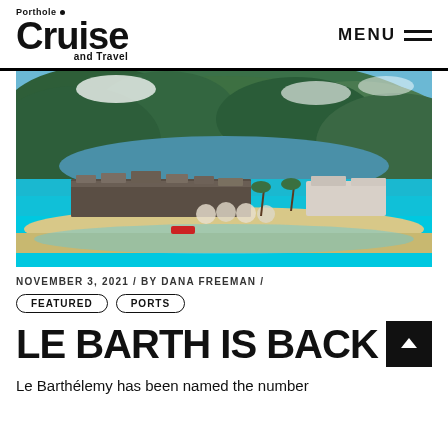Porthole Cruise and Travel — MENU
[Figure (photo): Aerial view of a Caribbean resort (Le Barthélemy) with turquoise water, sandy beach, hotel buildings nestled against green mountain hillsides, and a lagoon in the background.]
NOVEMBER 3, 2021 / BY DANA FREEMAN /
FEATURED   PORTS
LE BARTH IS BACK
Le Barthélemy has been named the number